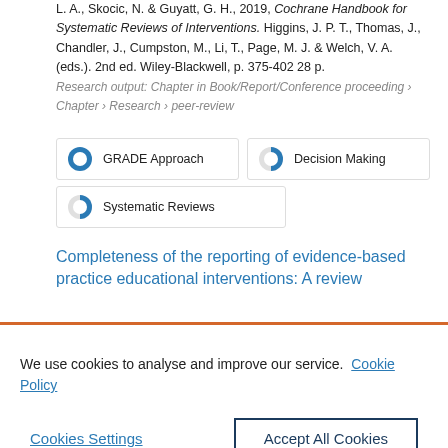L. A., Skocic, N. & Guyatt, G. H., 2019, Cochrane Handbook for Systematic Reviews of Interventions. Higgins, J. P. T., Thomas, J., Chandler, J., Cumpston, M., Li, T., Page, M. J. & Welch, V. A. (eds.). 2nd ed. Wiley-Blackwell, p. 375-402 28 p. Research output: Chapter in Book/Report/Conference proceeding › Chapter › Research › peer-review
[Figure (infographic): Three keyword badges with donut/pie chart icons: 100% GRADE Approach, 50% Decision Making, 50% Systematic Reviews]
Completeness of the reporting of evidence-based practice educational interventions: A review
We use cookies to analyse and improve our service. Cookie Policy
Cookies Settings | Accept All Cookies